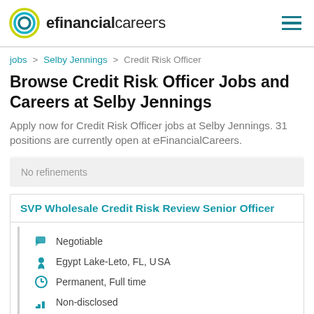efinancialcareers
jobs > Selby Jennings > Credit Risk Officer
Browse Credit Risk Officer Jobs and Careers at Selby Jennings
Apply now for Credit Risk Officer jobs at Selby Jennings. 31 positions are currently open at eFinancialCareers.
No refinements
SVP Wholesale Credit Risk Review Senior Officer
Negotiable
Egypt Lake-Leto, FL, USA
Permanent, Full time
Non-disclosed